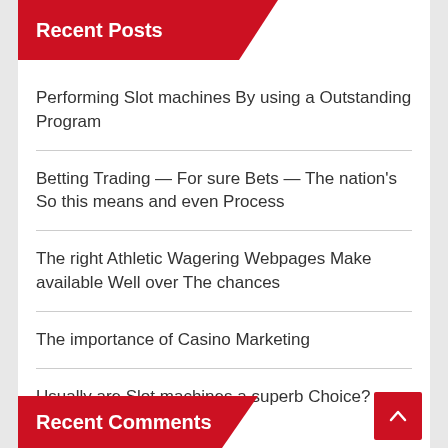Recent Posts
Performing Slot machines By using a Outstanding Program
Betting Trading — For sure Bets — The nation's So this means and even Process
The right Athletic Wagering Webpages Make available Well over The chances
The importance of Casino Marketing
Usually are Slot machines a superb Choice?
Recent Comments